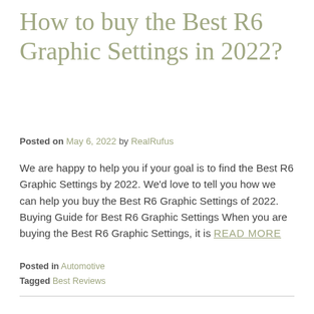How to buy the Best R6 Graphic Settings in 2022?
Posted on May 6, 2022 by RealRufus
We are happy to help you if your goal is to find the Best R6 Graphic Settings by 2022. We'd love to tell you how we can help you buy the Best R6 Graphic Settings of 2022. Buying Guide for Best R6 Graphic Settings When you are buying the Best R6 Graphic Settings, it is READ MORE
Posted in Automotive
Tagged Best Reviews